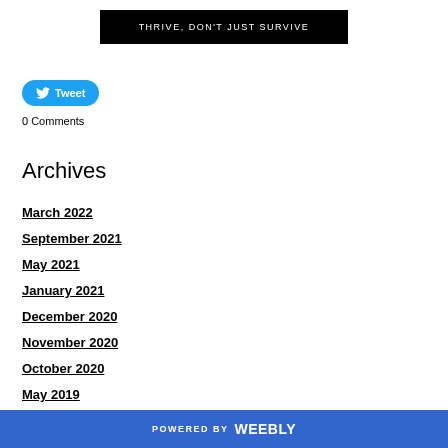THRIVE, DON'T JUST SURVIVE
[Figure (other): Twitter Tweet button (blue rounded rectangle with bird icon and 'Tweet' label)]
0 Comments
Archives
March 2022
September 2021
May 2021
January 2021
December 2020
November 2020
October 2020
May 2019
POWERED BY weebly